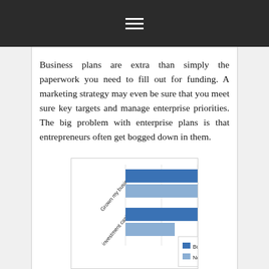≡
Business plans are extra than simply the paperwork you need to fill out for funding. A marketing strategy may even be sure that you meet sure key targets and manage enterprise priorities. The big problem with enterprise plans is that entrepreneurs often get bogged down in them.
[Figure (bar-chart): Grown my business / investment capital]